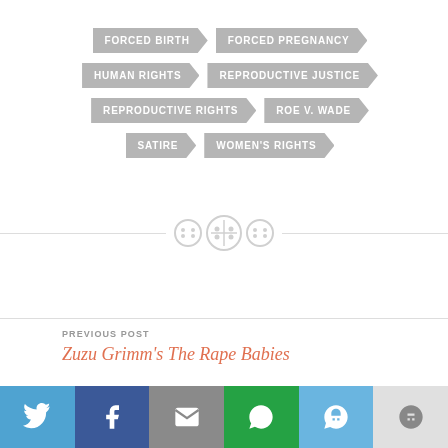FORCED BIRTH
FORCED PREGNANCY
HUMAN RIGHTS
REPRODUCTIVE JUSTICE
REPRODUCTIVE RIGHTS
ROE V. WADE
SATIRE
WOMEN'S RIGHTS
[Figure (other): Three decorative button/dot icons as a divider]
PREVIOUS POST
Zuzu Grimm's The Rape Babies
[Figure (other): Social share bar with Twitter, Facebook, Email, WhatsApp, SMS, and More buttons]